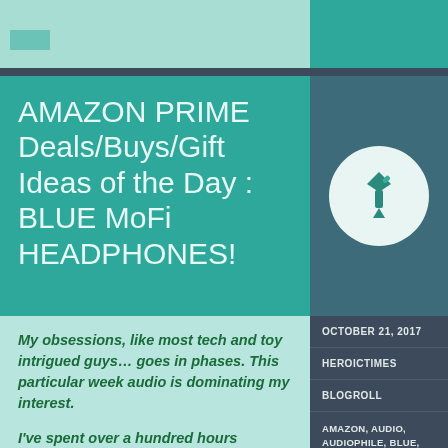[Figure (illustration): Teal banner top section with a speech bubble icon on left and a darker teal block on right]
AMAZON PRIME Deals/Buys/Gift Ideas of the Day : BLUE MoFi HEADPHONES!
[Figure (illustration): Pin/thumbtack icon in a white circle on dark teal background]
My obsessions, like most tech and toy intrigued guys… goes in phases. This particular week audio is dominating my interest.
I've spent over a hundred hours determining signal from noise, and great purchases, from fraudulent stacked reviews. Which of these do I...
OCTOBER 21, 2017
HEROICTIMES
BLOGROLL
AMAZON, AUDIO, AUDIOPHILE, BLUE, BUYNG GUIDE, ELLA, GIFT, HEADPHONES, HI-